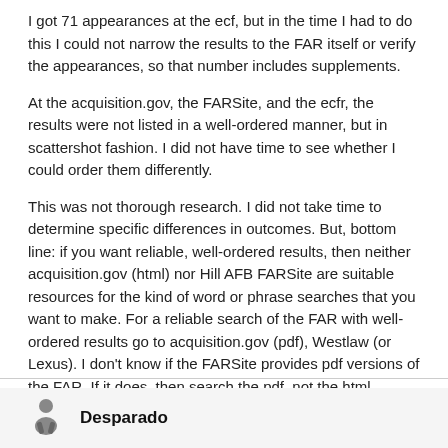I got 71 appearances at the ecf, but in the time I had to do this I could not narrow the results to the FAR itself or verify the appearances, so that number includes supplements.
At the acquisition.gov, the FARSite, and the ecfr, the results were not listed in a well-ordered manner, but in scattershot fashion. I did not have time to see whether I could order them differently.
This was not thorough research. I did not take time to determine specific differences in outcomes. But, bottom line: if you want reliable, well-ordered results, then neither acquisition.gov (html) nor Hill AFB FARSite are suitable resources for the kind of word or phrase searches that you want to make. For a reliable search of the FAR with well-ordered results go to acquisition.gov (pdf), Westlaw (or Lexus). I don't know if the FARSite provides pdf versions of the FAR. If it does, then search the pdf, not the html.
I use Westlaw exclusively for the kind of searches that you want to make, but I know that most of you do not have access to it.
Desparado